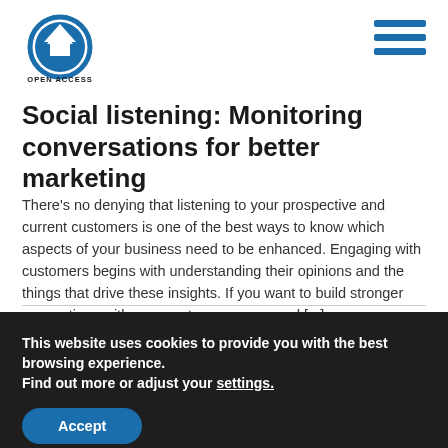[Figure (logo): Open Access BPO logo — circular blue badge with white chevron/house icon and 'OPEN ACCESS BPO' text below]
Social listening: Monitoring conversations for better marketing
There's no denying that listening to your prospective and current customers is one of the best ways to know which aspects of your business need to be enhanced. Engaging with customers begins with understanding their opinions and the things that drive these insights. If you want to build stronger connections with your customers, you need [...]
This website uses cookies to provide you with the best browsing experience.
Find out more or adjust your settings.